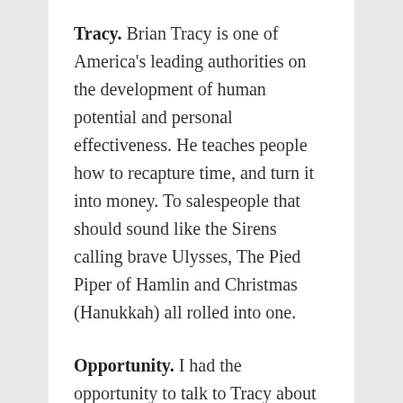Tracy. Brian Tracy is one of America's leading authorities on the development of human potential and personal effectiveness. He teaches people how to recapture time, and turn it into money. To salespeople that should sound like the Sirens calling brave Ulysses, The Pied Piper of Hamlin and Christmas (Hanukkah) all rolled into one.
Opportunity. I had the opportunity to talk to Tracy about his upcoming all day seminar with the legendary Og